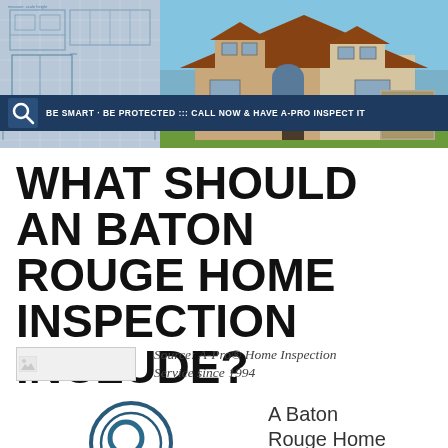[Figure (infographic): Banner header with blueprint drawings on the left half and a brick house photo on the right half, with a dark navy tagline bar overlay reading: BE SMART · BE PROTECTED ::: CALL NOW & HAVE A-PRO INSPECT IT, with a magnifying glass icon on the left of the bar.]
WHAT SHOULD AN BATON ROUGE HOME INSPECTION INCLUDE?
[Figure (logo): Small image placeholder (broken image icon) on the left with source text to the right.]
Source: A-Pro® Home Inspection Service since 1994
[Figure (logo): Circular logo with a magnifying glass icon in teal/dark blue, partially visible at bottom of page.]
A Baton Rouge Home